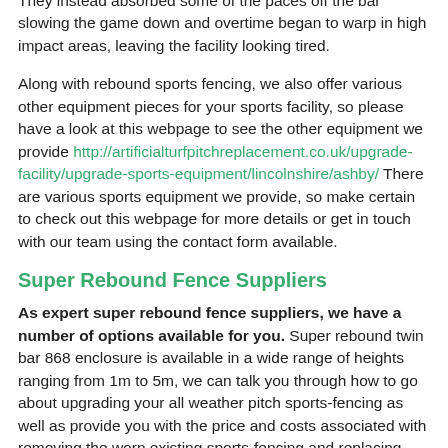They instead absorbed some of the paces off the bar slowing the game down and overtime began to warp in high impact areas, leaving the facility looking tired.
Along with rebound sports fencing, we also offer various other equipment pieces for your sports facility, so please have a look at this webpage to see the other equipment we provide http://artificialturfpitchreplacement.co.uk/upgrade-facility/upgrade-sports-equipment/lincolnshire/ashby/ There are various sports equipment we provide, so make certain to check out this webpage for more details or get in touch with our team using the contact form available.
Super Rebound Fence Suppliers
As expert super rebound fence suppliers, we have a number of options available for you. Super rebound twin bar 868 enclosure is available in a wide range of heights ranging from 1m to 5m, we can talk you through how to go about upgrading your all weather pitch sports-fencing as well as provide you with the price and costs associated with removing the worn existing sports-fencing and replacing with and aesthetically pleasing strong super